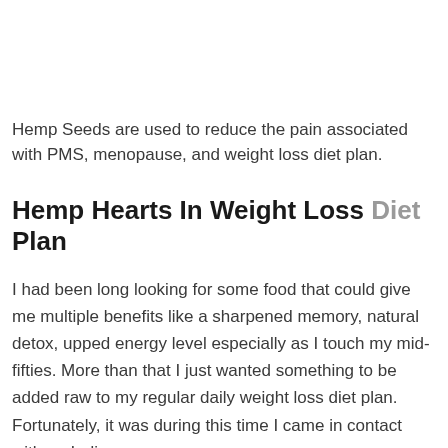Hemp Seeds are used to reduce the pain associated with PMS, menopause, and weight loss diet plan.
Hemp Hearts In Weight Loss Diet Plan
I had been long looking for some food that could give me multiple benefits like a sharpened memory, natural detox, upped energy level especially as I touch my mid-fifties. More than that I just wanted something to be added raw to my regular daily weight loss diet plan. Fortunately, it was during this time I came in contact with an Indian company on